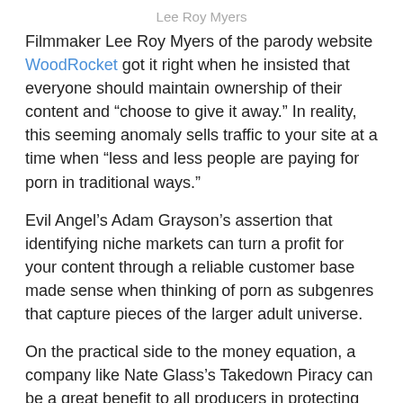Lee Roy Myers
Filmmaker Lee Roy Myers of the parody website WoodRocket got it right when he insisted that everyone should maintain ownership of their content and “choose to give it away.” In reality, this seeming anomaly sells traffic to your site at a time when “less and less people are paying for porn in traditional ways.”
Evil Angel’s Adam Grayson’s assertion that identifying niche markets can turn a profit for your content through a reliable customer base made sense when thinking of porn as subgenres that capture pieces of the larger adult universe.
On the practical side to the money equation, a company like Nate Glass’s Takedown Piracy can be a great benefit to all producers in protecting their content.